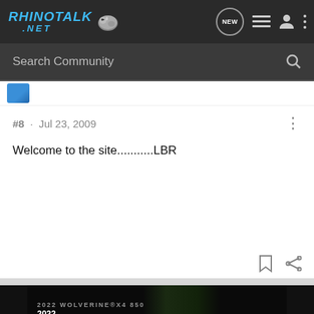RHINOTALK.NET [logo]
Search Community
#8 · Jul 23, 2009
Welcome to the site...........LBR
[Figure (screenshot): Advertisement banner for 2022 Yamaha Wolverine X4 850]